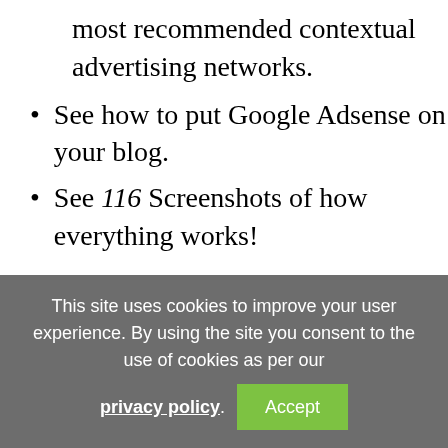most recommended contextual advertising networks.
See how to put Google Adsense on your blog.
See 116 Screenshots of how everything works!
The latest version was uploaded late on May 31st.
Those who purchased on or after
This site uses cookies to improve your user experience. By using the site you consent to the use of cookies as per our privacy policy.